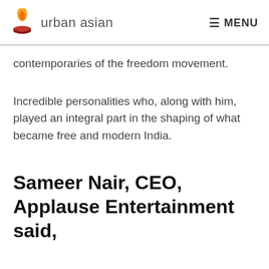urban asian   MENU
contemporaries of the freedom movement.
Incredible personalities who, along with him, played an integral part in the shaping of what became free and modern India.
Sameer Nair, CEO, Applause Entertainment said,